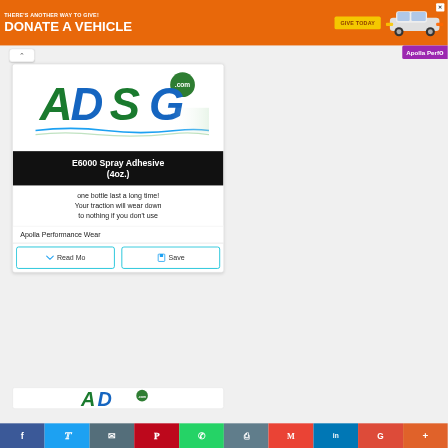[Figure (infographic): Orange banner ad: THERE'S ANOTHER WAY TO GIVE! DONATE A VEHICLE - GIVE TODAY button, car image, X close button]
Apolla Perf…
[Figure (logo): ADG.com logo — green/blue stylized letters with .com badge]
E6000 Spray Adhesive (4oz.)
one bottle last a long time! Your traction will wear down to nothing if you don't use
Apolla Performance Wear
Read Mo…   Save
[Figure (logo): Partial ADG.com logo at bottom of page]
[Figure (infographic): Social sharing bar: Facebook, Twitter, Email, Pinterest, WhatsApp, Print, Gmail, LinkedIn, Google+, More]